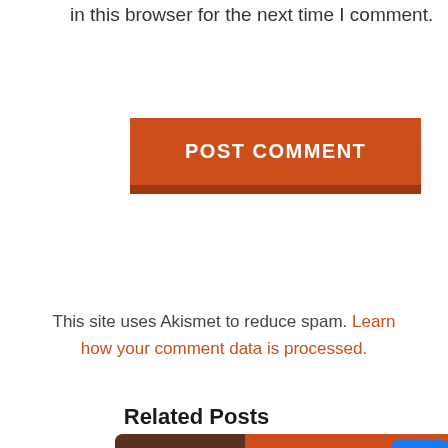in this browser for the next time I comment.
[Figure (other): Orange POST COMMENT button with darker orange drop shadow]
This site uses Akismet to reduce spam. Learn how your comment data is processed.
Related Posts
[Figure (other): Related post card with orange background showing Nick Andrews, Founder & CEO, Revitrage, $1 Million in 1 Year, A Leader In, with a book cover 'From Founder to CEO']
[Figure (other): Social media icon buttons on right side: Facebook (blue), Twitter (light blue), Pinterest (red), LinkedIn (blue)]